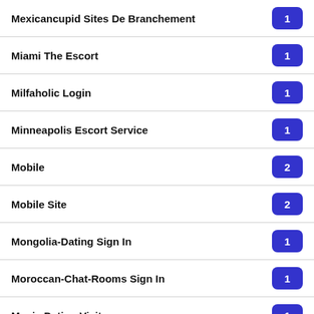Mexicancupid Sites De Branchement
Miami The Escort
Milfaholic Login
Minneapolis Escort Service
Mobile
Mobile Site
Mongolia-Dating Sign In
Moroccan-Chat-Rooms Sign In
Music Dating Visitors
Muzmatch Mobile Site
MyLadyboyDate Review